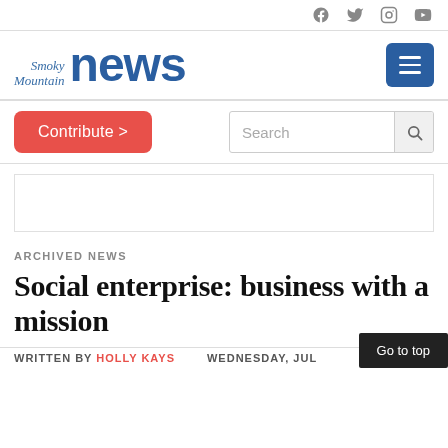Social icons: Facebook, Twitter, Instagram, YouTube
[Figure (logo): Smoky Mountain News logo with 'Smoky Mountain' in italic serif and 'news' in bold sans-serif, blue color]
Contribute >
Search
[Figure (other): Advertisement placeholder box]
ARCHIVED NEWS
Social enterprise: business with a mission
WRITTEN BY HOLLY KAYS   WEDNESDAY, JULY